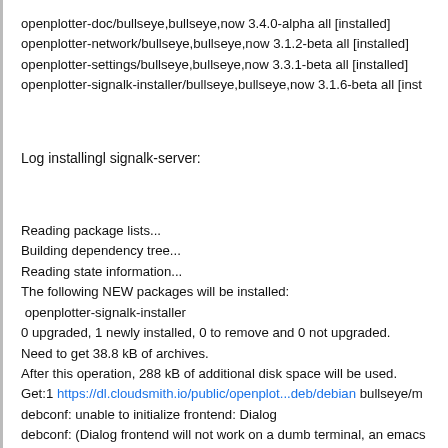openplotter-doc/bullseye,bullseye,now 3.4.0-alpha all [installed]
openplotter-network/bullseye,bullseye,now 3.1.2-beta all [installed]
openplotter-settings/bullseye,bullseye,now 3.3.1-beta all [installed]
openplotter-signalk-installer/bullseye,bullseye,now 3.1.6-beta all [inst
Log installingl signalk-server:
Reading package lists...
Building dependency tree...
Reading state information...
The following NEW packages will be installed:
 openplotter-signalk-installer
0 upgraded, 1 newly installed, 0 to remove and 0 not upgraded.
Need to get 38.8 kB of archives.
After this operation, 288 kB of additional disk space will be used.
Get:1 https://dl.cloudsmith.io/public/openplot...deb/debian bullseye/m
debconf: unable to initialize frontend: Dialog
debconf: (Dialog frontend will not work on a dumb terminal, an emacs
debconf: falling back to frontend: Readline